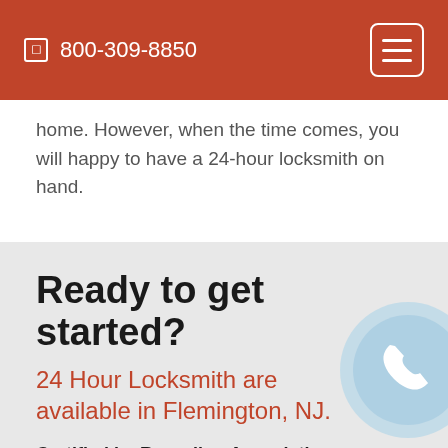800-309-8850
home. However, when the time comes, you will happy to have a 24-hour locksmith on hand.
Ready to get started?
24 Hour Locksmith are available in Flemington, NJ.
Certified by Recycling Association
Residential 24 Hour Locksmith service